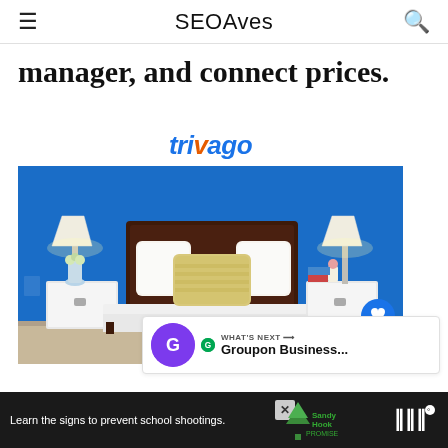SEOAves
manager, and connect prices.
[Figure (screenshot): Trivago hotel search website screenshot showing a hotel bedroom with blue walls, a bed with white and beige pillows, and two white nightstands with lamps. The Trivago logo appears at the top of the screenshot.]
WHAT'S NEXT → Groupon Business...
Learn the signs to prevent school shootings. Sandy Hook Promise.